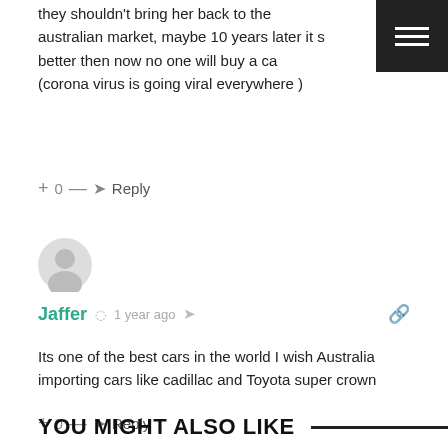they shouldn't bring her back to the australian market, maybe 10 years later it s better then now no one will buy a car (corona virus is going viral everywhere )
+ 0 — Reply
[Figure (illustration): Gray circular user avatar icon]
Jaffer  1 year ago
Its one of the best cars in the world I wish Australia importing cars like cadillac and Toyota super crown
+ 0 — Reply
YOU MIGHT ALSO LIKE